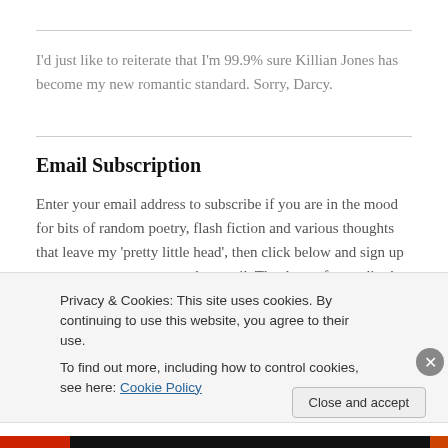I'd just like to reiterate that I'm 99.9% sure Killian Jones has become my new romantic standard. Sorry, Darcy.
Email Subscription
Enter your email address to subscribe if you are in the mood for bits of random poetry, flash fiction and various thoughts that leave my 'pretty little head', then click below and sign up to get a note on new posts by email. Thank you for reading!
Privacy & Cookies: This site uses cookies. By continuing to use this website, you agree to their use.
To find out more, including how to control cookies, see here: Cookie Policy
Close and accept